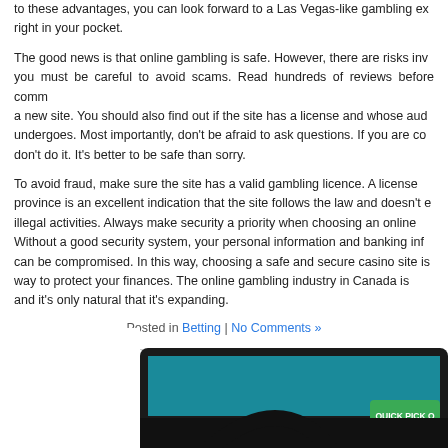to these advantages, you can look forward to a Las Vegas-like gambling experience right in your pocket.
The good news is that online gambling is safe. However, there are risks involved and you must be careful to avoid scams. Read hundreds of reviews before committing to a new site. You should also find out if the site has a license and whose audits it undergoes. Most importantly, don't be afraid to ask questions. If you are concerned, don't do it. It's better to be safe than sorry.
To avoid fraud, make sure the site has a valid gambling licence. A license from a province is an excellent indication that the site follows the law and doesn't engage in illegal activities. Always make security a priority when choosing an online casino. Without a good security system, your personal information and banking information can be compromised. In this way, choosing a safe and secure casino site is the best way to protect your finances. The online gambling industry in Canada is growing and it's only natural that it's expanding.
Posted in Betting | No Comments »
Online Lottery – How to Play the Lottery Online
August 13th, 2022
An
[Figure (photo): Partial image of a lottery ticket/device with a green QUICK PICK button visible]